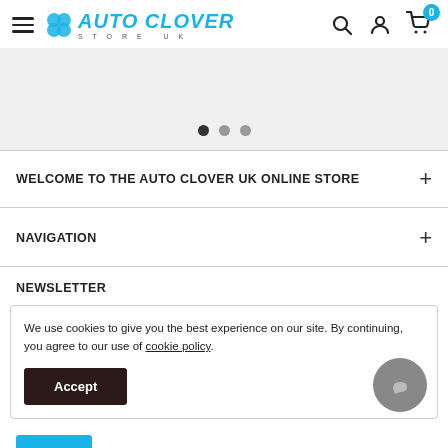[Figure (logo): Auto Clover Store UK logo with blue clover icon and text]
[Figure (infographic): Carousel slider with three navigation dots, first dot active]
WELCOME TO THE AUTO CLOVER UK ONLINE STORE
NAVIGATION
NEWSLETTER
We use cookies to give you the best experience on our site. By continuing, you agree to our use of cookie policy.